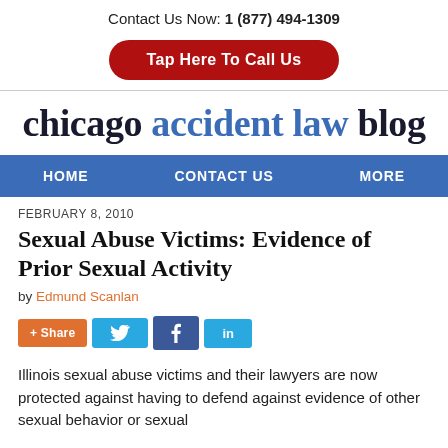Contact Us Now: 1 (877) 494-1309
Tap Here To Call Us
chicago accident law blog
HOME   CONTACT US   MORE
FEBRUARY 8, 2010
Sexual Abuse Victims: Evidence of Prior Sexual Activity
by Edmund Scanlan
+ Share  [Twitter]  [Facebook]  [LinkedIn]
Illinois sexual abuse victims and their lawyers are now protected against having to defend against evidence of other sexual behavior or sexual